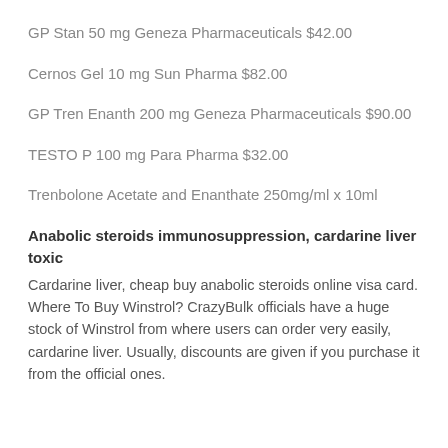GP Stan 50 mg Geneza Pharmaceuticals $42.00
Cernos Gel 10 mg Sun Pharma $82.00
GP Tren Enanth 200 mg Geneza Pharmaceuticals $90.00
TESTO P 100 mg Para Pharma $32.00
Trenbolone Acetate and Enanthate 250mg/ml x 10ml
Anabolic steroids immunosuppression, cardarine liver toxic
Cardarine liver, cheap buy anabolic steroids online visa card. Where To Buy Winstrol? CrazyBulk officials have a huge stock of Winstrol from where users can order very easily, cardarine liver. Usually, discounts are given if you purchase it from the official ones.